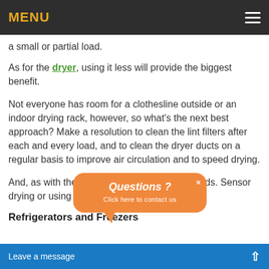MENU
a small or partial load.
As for the dryer, using it less will provide the biggest benefit.
Not everyone has room for a clothesline outside or an indoor drying rack, however, so what’s the next best approach? Make a resolution to clean the lint filters after each and every load, and to clean the dryer ducts on a regular basis to improve air circulation and to speed drying.
And, as with the washer, be sure to run full loads. Sensor drying or using low hea…
Refrigerators and Freezers
[Figure (other): Orange rounded popup widget with text 'Questions ? Click here to contact us' and a close X button, with speech bubble tail pointing down-left]
Leave a message